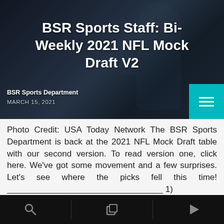[Figure (photo): Football player wearing dark navy jersey with number 1, in action pose throwing or holding a football, hero banner image for sports article]
BSR Sports Staff: Bi-Weekly 2021 NFL Mock Draft V2
BSR Sports Department
MARCH 15, 2021
Photo Credit: USA Today Network The BSR Sports Department is back at the 2021 NFL Mock Draft table with our second version. To read version one, click here. We've got some movement and a few surprises. Let's see where the picks fell this time! _________________________________ 1)
Jacksonville...Trevor... QB